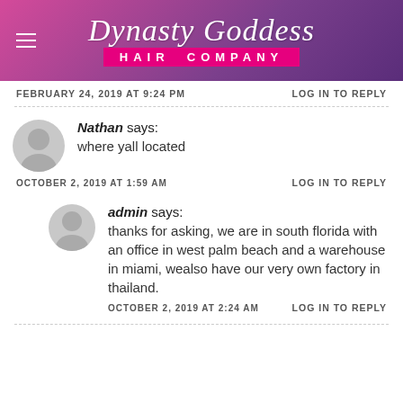[Figure (logo): Dynasty Goddess Hair Company logo with script text on purple/pink gradient background]
FEBRUARY 24, 2019 AT 9:24 PM   LOG IN TO REPLY
Nathan says: where yall located
OCTOBER 2, 2019 AT 1:59 AM   LOG IN TO REPLY
admin says: thanks for asking, we are in south florida with an office in west palm beach and a warehouse in miami, wealso have our very own factory in thailand.
OCTOBER 2, 2019 AT 2:24 AM   LOG IN TO REPLY